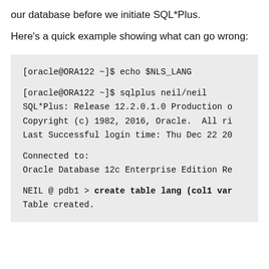our database before we initiate SQL*Plus.
Here's a quick example showing what can go wrong:
[Figure (screenshot): Terminal/code block showing shell commands: echo $NLS_LANG, sqlplus neil/neil, SQL*Plus release info, copyright, last login, Connected to Oracle Database 12c Enterprise Edition, and NEIL @ pdb1 > create table lang (col1 var... Table created.]